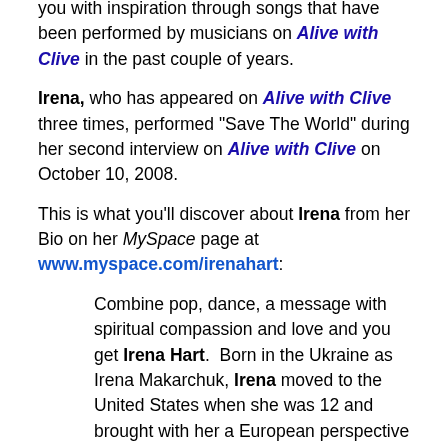you with inspiration through songs that have been performed by musicians on Alive with Clive in the past couple of years.
Irena, who has appeared on Alive with Clive three times, performed "Save The World" during her second interview on Alive with Clive on October 10, 2008.
This is what you'll discover about Irena from her Bio on her MySpace page at www.myspace.com/irenahart:
Combine pop, dance, a message with spiritual compassion and love and you get Irena Hart. Born in the Ukraine as Irena Makarchuk, Irena moved to the United States when she was 12 and brought with her a European perspective that provides freshness to her music. She is a prolific composer with over 100 songs written, and is also an entertainer. Having developed